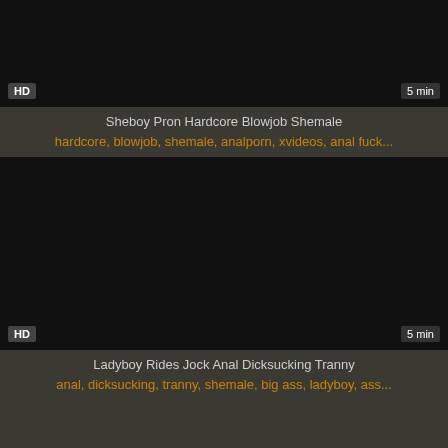[Figure (screenshot): Dark video thumbnail with HD badge bottom-left and 5 min badge bottom-right]
Sheboy Pron Hardcore Blowjob Shemale
hardcore, blowjob, shemale, analporn, xvideos, anal fuck...
[Figure (screenshot): Dark video thumbnail with HD badge bottom-left and 5 min badge bottom-right]
Ladyboy Rides Jock Anal Dicksucking Tranny
anal, dicksucking, tranny, shemale, big ass, ladyboy, ass...